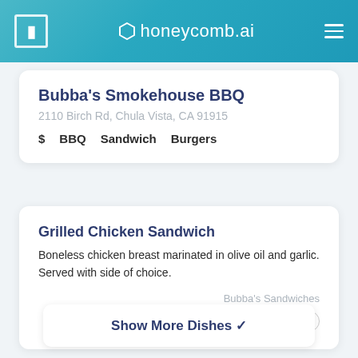honeycomb.ai
Bubba's Smokehouse BBQ
2110 Birch Rd, Chula Vista, CA 91915
$ BBQ Sandwich Burgers
Grilled Chicken Sandwich
Boneless chicken breast marinated in olive oil and garlic. Served with side of choice.
Bubba's Sandwiches
Unsuitable Dish? Report
Show More Dishes ✔